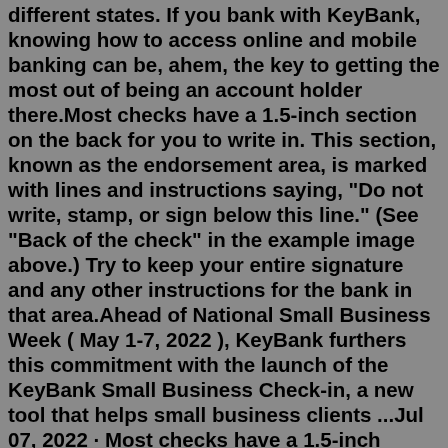different states. If you bank with KeyBank, knowing how to access online and mobile banking can be, ahem, the key to getting the most out of being an account holder there.Most checks have a 1.5-inch section on the back for you to write in. This section, known as the endorsement area, is marked with lines and instructions saying, "Do not write, stamp, or sign below this line." (See "Back of the check" in the example image above.) Try to keep your entire signature and any other instructions for the bank in that area.Ahead of National Small Business Week ( May 1-7, 2022 ), KeyBank furthers this commitment with the launch of the KeyBank Small Business Check-in, a new tool that helps small business clients ...Jul 07, 2022 · Most checks have a 1.5-inch section on the back for you to write in. This section, known as the endorsement area, is marked with lines and instructions saying, "Do not write, stamp, or sign below this line." (See "Back of the check" in the example image above.) Try to keep your entire signature and any other instructions for the bank in